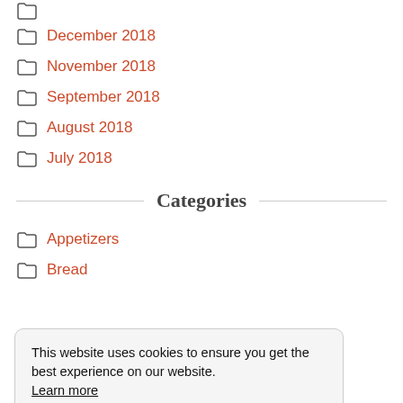December 2018
November 2018
September 2018
August 2018
July 2018
Categories
Appetizers
Bread
This website uses cookies to ensure you get the best experience on our website. Learn more Got it!
Desserts